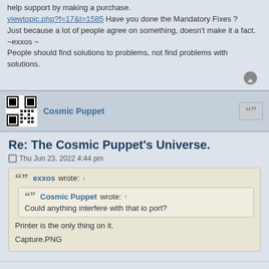help support by making a purchase.
viewtopic.php?f=17&t=1585 Have you done the Mandatory Fixes ?
Just because a lot of people agree on something, doesn't make it a fact. ~exxos ~
People should find solutions to problems, not find problems with solutions.
Cosmic Puppet
Re: The Cosmic Puppet's Universe.
Thu Jun 23, 2022 4:44 pm
exxos wrote: ↑
Cosmic Puppet wrote: ↑
Could anything interfere with that io port?
Printer is the only thing on it.
Capture.PNG
Right okay.
I don't get it. My system is acting differently, but it shouldn't. Leaves me nowhere explanation wise and that weird colour thing that disappeared